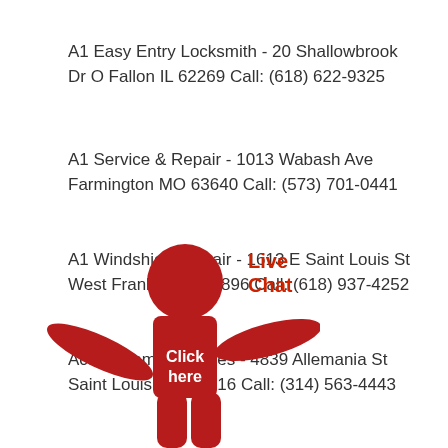A1 Easy Entry Locksmith - 20 Shallowbrook Dr O Fallon IL 62269 Call: (618) 622-9325
A1 Service & Repair - 1013 Wabash Ave Farmington MO 63640 Call: (573) 701-0441
A1 Windshield Repair - 1613 E Saint Louis St West Frankfort IL 62896 Call: (618) 937-4252
Action Home Services - 4839 Allemania St Saint Louis MO 63116 Call: (314) 563-4443
[Figure (illustration): Red stick figure person with 'Click here' text on body and 'Live Chat' label next to it]
Ace Auto Repair & Sales - 106 N Truman Blvd 63019 Call: (636) 933-0855
Affordable Handyman Service - 2316 N Lindbergh